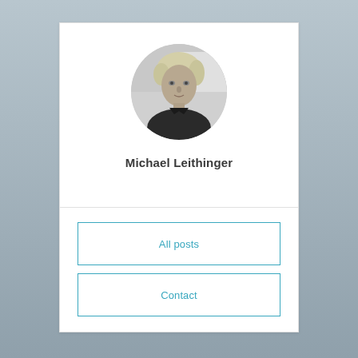[Figure (photo): Circular black-and-white portrait photo of Michael Leithinger, a man with light blond hair wearing a dark polo shirt]
Michael Leithinger
All posts
Contact